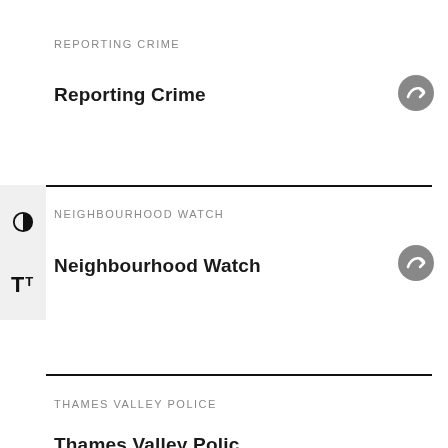REPORTING CRIME
Reporting Crime
NEIGHBOURHOOD WATCH
Neighbourhood Watch
THAMES VALLEY POLICE
Thames Valley Police